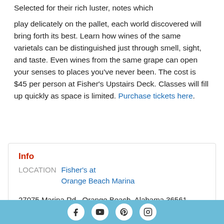Selected for their rich luster, notes which play delicately on the pallet, each world discovered will bring forth its best. Learn how wines of the same varietals can be distinguished just through smell, sight, and taste. Even wines from the same grape can open your senses to places you've never been. The cost is $45 per person at Fisher's Upstairs Deck. Classes will fill up quickly as space is limited. Purchase tickets here.
Info
LOCATION   Fisher's at Orange Beach Marina
27075 Marina Rd., Orange Beach, Alabama 36561
[Figure (other): Social media icons row: Facebook, YouTube, Pinterest, Instagram on a light blue footer bar]